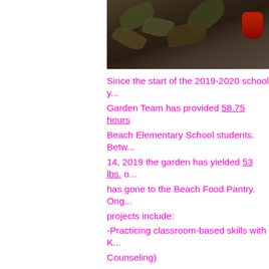[Figure (photo): Outdoor garden scene with leaves and foliage on the ground, partially visible red object in corner]
Since the start of the 2019-2020 school year, the Garden Team has provided 58.75 hours of service to Beach Elementary School students. Between Sept 14, 2019 the garden has yielded 53 lbs. of produce that has gone to the Beach Food Pantry. Ongoing projects include:
-Practicing classroom-based skills with K (Counseling)

-Building a sense of community and encouragement with Piff (5th grade)
-Lunch and Story in the Garden with Ann...
-Garden extension during recess for Can...
-Weekly garden maintenance assistance... Sheehan (4th grade)
-Tracking weather observations, collecting data with Julianne Stevens and Laurel Hazza... Unit and Graphing math support)
-Seasonal observations and haiku-writing (5th grade writing lit...